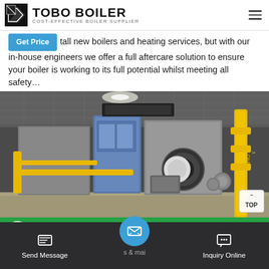TOBO BOILER — COST-EFFECTIVE BOILER SUPPLIER
tall new boilers and heating services, but with our in-house engineers we offer a full aftercare solution to ensure your boiler is working to its full potential whilst meeting all safety…
[Figure (photo): Industrial boiler room interior showing large blue/grey gas boilers with yellow gas pipes and fittings, bright polished floor, industrial ceiling.]
WhatsApp
Send Message | Inquiry Online